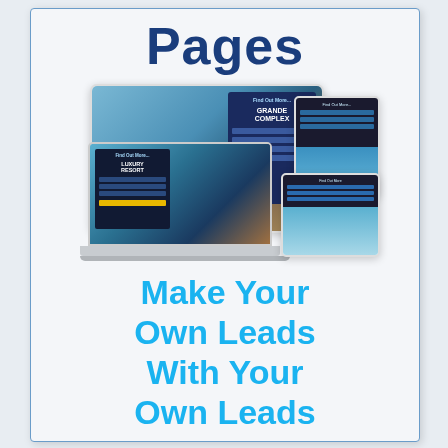Pages
[Figure (illustration): Collection of landing page mockups shown on various devices: a browser/tablet showing a real estate lead capture page with a dark blue form panel, a laptop showing a pool/resort lead capture page, a small phone showing a beach scene form, and a tablet showing a beach scene form - all styled as lead generation landing pages]
Make Your Own Leads With Your Own Leads